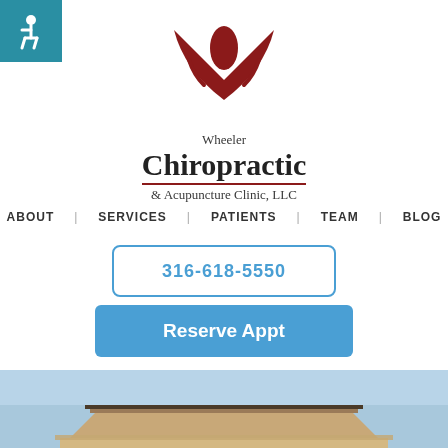[Figure (logo): Accessibility icon - wheelchair symbol on teal background, top left corner]
[Figure (logo): Wheeler Chiropractic & Acupuncture Clinic, LLC logo with red swoosh/figure design above text]
ABOUT   SERVICES   PATIENTS   TEAM   BLOG
316-618-5550
Reserve Appt
[Figure (photo): Exterior photo of clinic building showing roofline against blue sky]